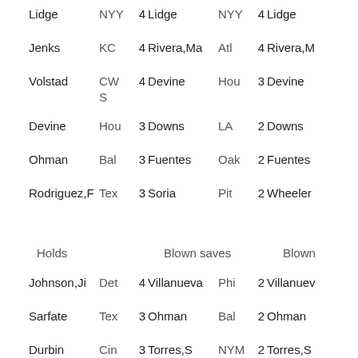| Player | Team | Val | Player | Team | Val | Player |
| --- | --- | --- | --- | --- | --- | --- |
| Lidge | NYY | 4 | Lidge | NYY | 4 | Lidge |
| Jenks | KC | 4 | Rivera,Ma | Atl | 4 | Rivera,M |
| Volstad | CWS | 4 | Devine | Hou | 3 | Devine |
| Devine | Hou | 3 | Downs | LA | 2 | Downs |
| Ohman | Bal | 3 | Fuentes | Oak | 2 | Fuentes |
| Rodriguez,F | Tex | 3 | Soria | Pit | 2 | Wheeler |
Holds
Blown saves
Blown
| Player | Team | Val | Player | Team | Val | Player |
| --- | --- | --- | --- | --- | --- | --- |
| Johnson,Ji | Det | 4 | Villanueva | Phi | 2 | Villanueva |
| Sarfate | Tex | 3 | Ohman | Bal | 2 | Ohman |
| Durbin | Cin | 3 | Torres,S | NYM | 2 | Torres,S |
| Dotel | Tex | 3 | Blevins | Tex | 1 | Balfour |